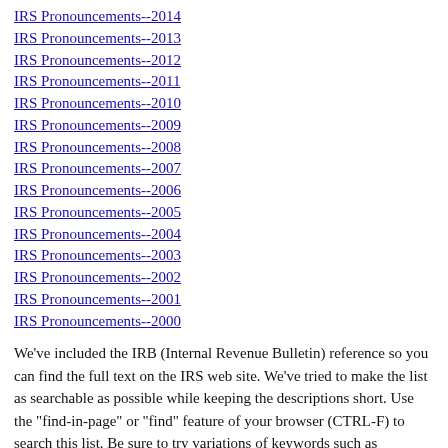IRS Pronouncements--2014
IRS Pronouncements--2013
IRS Pronouncements--2012
IRS Pronouncements--2011
IRS Pronouncements--2010
IRS Pronouncements--2009
IRS Pronouncements--2008
IRS Pronouncements--2007
IRS Pronouncements--2006
IRS Pronouncements--2005
IRS Pronouncements--2004
IRS Pronouncements--2003
IRS Pronouncements--2002
IRS Pronouncements--2001
IRS Pronouncements--2000
We've included the IRB (Internal Revenue Bulletin) reference so you can find the full text on the IRS web site. We've tried to make the list as searchable as possible while keeping the descriptions short. Use the "find-in-page" or "find" feature of your browser (CTRL-F) to search this list. Be sure to try variations of keywords such as "activities" as well as "activity"; "depreciation" as well as "depreciate". The Applicable Federal Rate and interest rates on over- and underpayments are updated on our IRS Interest Rates page.